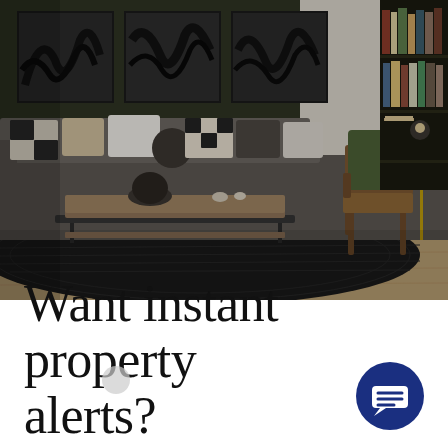[Figure (photo): Interior living room photo showing a dark grey sectional sofa with multiple decorative pillows in various textures including checkered black-and-white and beige. A wooden coffee table with dark metal frame sits on a patterned dark area rug. Abstract black brushstroke artwork hangs on dark olive green walls. To the right, a mid-century modern wooden armchair with leather seat has a large olive green throw pillow. A tall floor lamp with brass accents and shelving with books is visible in the background right. Wood floors visible at right.]
Want instant property alerts?